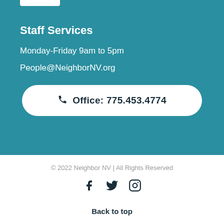Staff Services
Monday-Friday 9am to 5pm
People@NeighborNV.org
Office: 775.453.4774
© 2022 Neighbor NV | All Rights Reserved
[Figure (other): Social media icons: Facebook, Twitter, Instagram]
Back to top